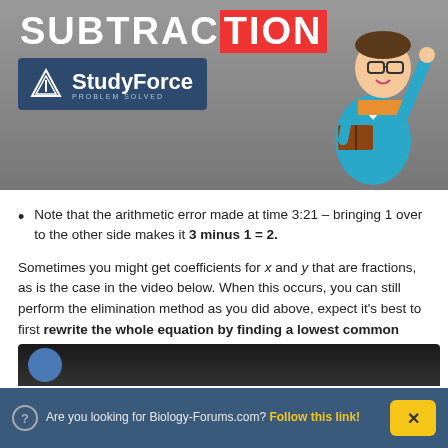[Figure (screenshot): StudyForce banner with 'SUBTRACTION' heading in white bold text with red highlight on 'TION', StudyForce logo on dark blue background, and cartoon character of a man with glasses holding a book and pointing upward]
Note that the arithmetic error made at time 3:21 – bringing 1 over to the other side makes it 3 minus 1 = 2.
Sometimes you might get coefficients for x and y that are fractions, as is the case in the video below. When this occurs, you can still perform the elimination method as you did above, expect it's best to first rewrite the whole equation by finding a lowest common denominator among the terms. This is demonstrated below:
[Figure (screenshot): Partial view of a video player with dark background]
Are you looking for Biology-Forums.com? Follow this link!